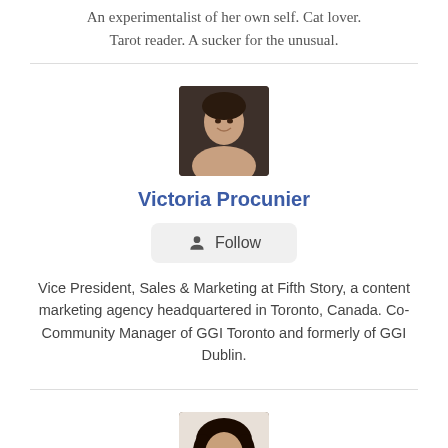An experimentalist of her own self. Cat lover. Tarot reader. A sucker for the unusual.
[Figure (photo): Profile photo of Victoria Procunier – woman smiling, dark background]
Victoria Procunier
Follow
Vice President, Sales & Marketing at Fifth Story, a content marketing agency headquartered in Toronto, Canada. Co-Community Manager of GGI Toronto and formerly of GGI Dublin.
[Figure (photo): Profile photo of Vianessa Castaños – woman with curly hair, hand near face]
Vianessa Castaños
Follow